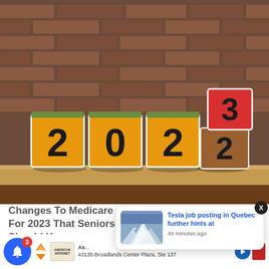[Figure (photo): Photo of wooden number blocks spelling 2023 on a shelf in front of a brick wall. Three orange blocks show '2', '0', '2' and a cube on the right shows '3' on top (red face) and '2' on the side (brown face), suggesting the year is changing from 2022 to 2023.]
Changes To Medicare For 2023 That Seniors Should Know
[Figure (screenshot): Popup notification card showing a thumbnail of a snow-capped mountain landscape with headline 'Tesla job posting in Quebec further hints at' and timestamp '49 minutes ago'. A close button (X) appears next to it.]
43135 Broadlands Center Plaza, Ste 137
[Figure (other): Blue circular bell notification icon with red badge showing '3', and adjacent advertisement strip with logo, arrows, text starting with 'As...' and action buttons.]